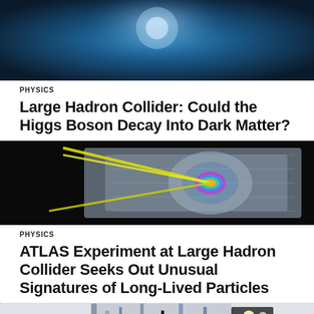[Figure (photo): Glowing blue particle physics or space visualization, top image cropped at top]
PHYSICS
Large Hadron Collider: Could the Higgs Boson Decay Into Dark Matter?
[Figure (photo): ATLAS detector simulation with yellow beams and colorful particle tracks on black background]
PHYSICS
ATLAS Experiment at Large Hadron Collider Seeks Out Unusual Signatures of Long-Lived Particles
[Figure (photo): Large detector equipment in industrial hall, partially visible at bottom]